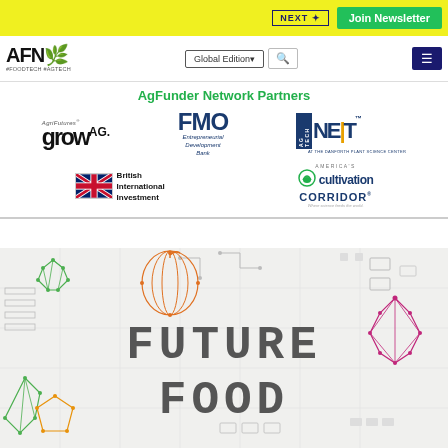AFN #FOODTECH #AGTECH — NEXT+ | Join Newsletter | Global Edition
AgFunder Network Partners
[Figure (logo): AgFunder Network Partners logos: AgriFutures growAG, FMO Entrepreneurial Development Bank, AG TECH NEXT at the Danforth Plant Science Center, British International Investment, America's Cultivation Corridor]
[Figure (illustration): Future Food promotional illustration with circuit board pattern background and geometric polygon animal/vegetable illustrations in green, orange, pink colors. Large text reads FUTURE FOOD in blocky monospace font.]